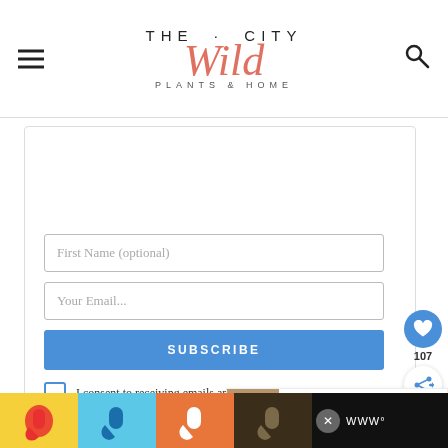THE CITY Wild PLANTS & HOME
Subscribe to The City Wild!
Get updates on the latest posts and more from The City Wild straight to your inbox.
First Name (optional)
Your Email...
SUBSCRIBE
I consent to receiving emails and personalized ads.
107
WHAT'S NEXT Lithops (Living Ston...
[Figure (infographic): Wash Your Hands Often advertisement banner with colourful hand icons on yellow, blue, orange, and dark backgrounds]